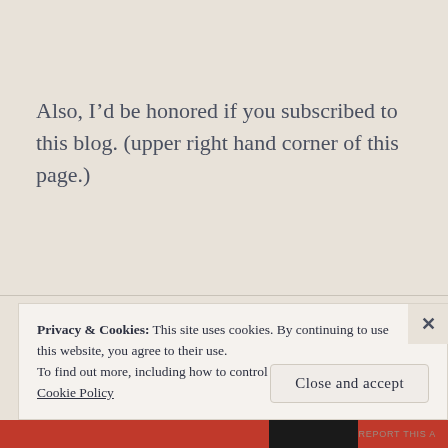Also, I’d be honored if you subscribed to this blog. (upper right hand corner of this page.)
Privacy & Cookies: This site uses cookies. By continuing to use this website, you agree to their use.
To find out more, including how to control cookies, see here:
Cookie Policy
Close and accept